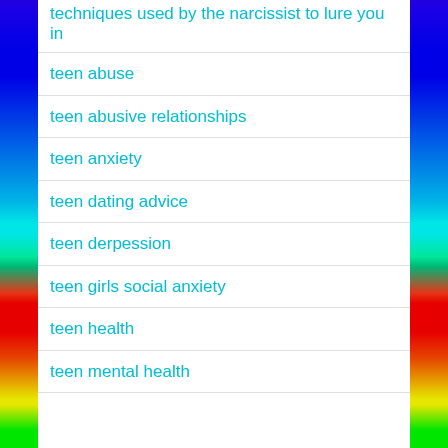techniques used by the narcissist to lure you in
teen abuse
teen abusive relationships
teen anxiety
teen dating advice
teen derpession
teen girls social anxiety
teen health
teen mental health